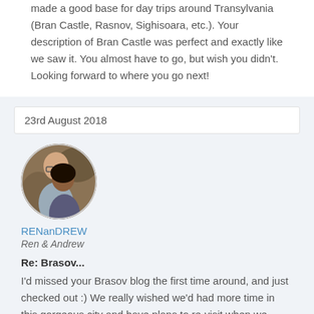made a good base for day trips around Transylvania (Bran Castle, Rasnov, Sighisoara, etc.). Your description of Bran Castle was perfect and exactly like we saw it. You almost have to go, but wish you didn't. Looking forward to where you go next!
23rd August 2018
[Figure (photo): Circular avatar photo of two people (a man and a woman) posing together, with a decorative background.]
RENanDREW
Ren & Andrew
Re: Brasov... I'd missed your Brasov blog the first time around, and just checked out :) We really wished we'd had more time in this gorgeous city and have plans to re-visit when we make it back to Romania at some point. I know exactly